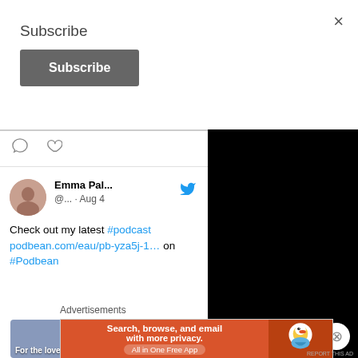×
Subscribe
Subscribe
[Figure (screenshot): Twitter/social media embed showing tweet by Emma Pal... (@... · Aug 4): 'Check out my latest #podcast podbean.com/eau/pb-yza5j-1… on #Podbean' with comment and heart icons, Twitter bird logo, thumbnail image at bottom, black panel on right]
Advertisements
[Figure (screenshot): DuckDuckGo advertisement banner: orange section reads 'Search, browse, and email with more privacy. All in One Free App' and right section has DuckDuckGo duck logo on darker orange background]